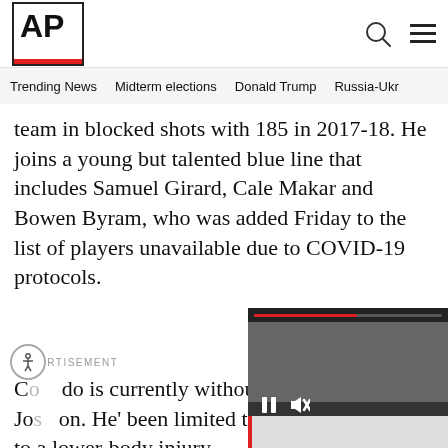AP
Trending News  Midterm elections  Donald Trump  Russia-Ukr
team in blocked shots with 185 in 2017-18. He joins a young but talented blue line that includes Samuel Girard, Cale Makar and Bowen Byram, who was added Friday to the list of players unavailable due to COVID-19 protocols.
ADVERTISEMENT
[Figure (screenshot): Video overlay showing a man with white hair, with video controls (pause, mute), a close button, red progress bar, and a gray lower bar.]
Co do is currently without vete Ja on. He' been limited to four g to a lower-body injury.